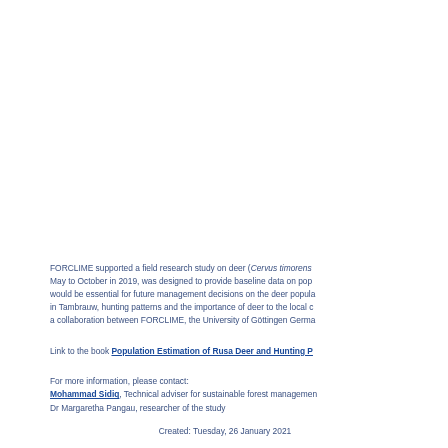FORCLIME supported a field research study on deer (Cervus timorens... May to October in 2019, was designed to provide baseline data on pop... would be essential for future management decisions on the deer popula... in Tambrauw, hunting patterns and the importance of deer to the local c... a collaboration between FORCLIME, the University of Göttingen Germa...
Link to the book Population Estimation of Rusa Deer and Hunting P...
For more information, please contact:
Mohammad Sidiq, Technical adviser for sustainable forest managemen...
Dr Margaretha Pangau, researcher of the study
Created: Tuesday, 26 January 2021